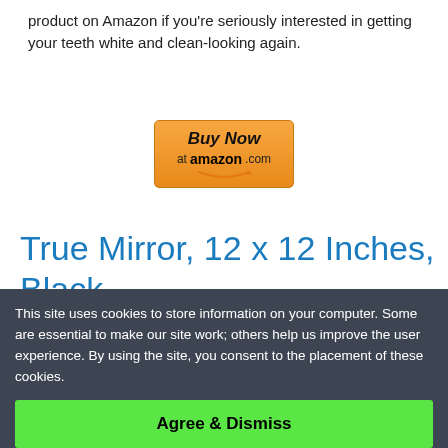product on Amazon if you're seriously interested in getting your teeth white and clean-looking again.
[Figure (other): Buy Now at amazon.com button with Amazon smile logo]
True Mirror, 12 x 12 Inches, Black
This site uses cookies to store information on your computer. Some are essential to make our site work; others help us improve the user experience. By using the site, you consent to the placement of these cookies.
Agree & Dismiss